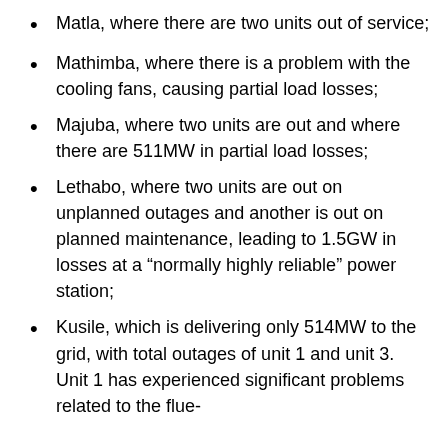Matla, where there are two units out of service;
Mathimba, where there is a problem with the cooling fans, causing partial load losses;
Majuba, where two units are out and where there are 511MW in partial load losses;
Lethabo, where two units are out on unplanned outages and another is out on planned maintenance, leading to 1.5GW in losses at a “normally highly reliable” power station;
Kusile, which is delivering only 514MW to the grid, with total outages of unit 1 and unit 3. Unit 1 has experienced significant problems related to the flue-